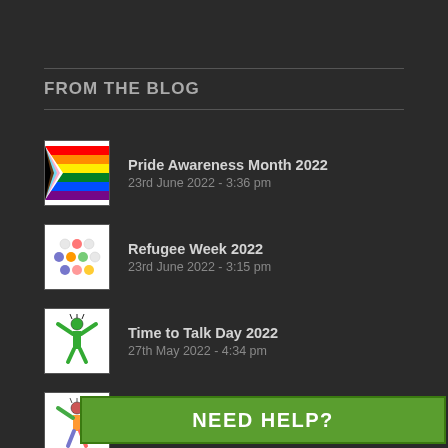FROM THE BLOG
Pride Awareness Month 2022
23rd June 2022 - 3:36 pm
Refugee Week 2022
23rd June 2022 - 3:15 pm
Time to Talk Day 2022
27th May 2022 - 4:34 pm
Pride 2021
2nd September 2021 - 5:05 pm
Braunstone Town Mayor Awards 2021
25th May 2021 - 1:50 pm
NEED HELP?